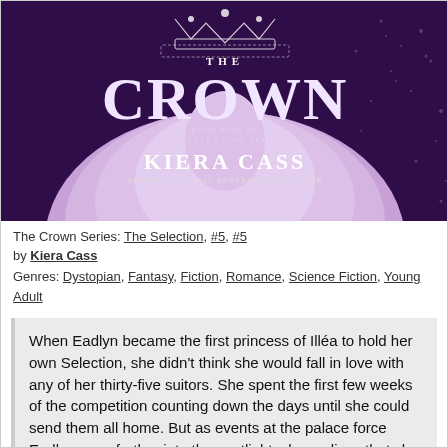[Figure (illustration): Book cover of 'The Crown' by Kiera Cass, Book Five of The Selection Series. Purple/violet toned cover with a princess in a large ballgown and a crown at the top. Text reads: THE CROWN, Book Five of The Selection Series, KIERA CASS, #1 New York Times Bestselling Author.]
The Crown Series: The Selection, #5, #5
by Kiera Cass
Genres: Dystopian, Fantasy, Fiction, Romance, Science Fiction, Young Adult
When Eadlyn became the first princess of Illéa to hold her own Selection, she didn't think she would fall in love with any of her thirty-five suitors. She spent the first few weeks of the competition counting down the days until she could send them all home. But as events at the palace force Eadlyn even further into the spotlight, she realizes that she might not be content